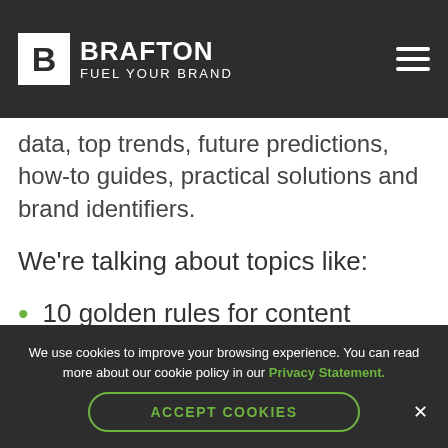[Figure (logo): Brafton logo with B square and text 'BRAFTON FUEL YOUR BRAND' on dark nav bar]
Our team often finds infographic topic ideas in statistics and data, top trends, future predictions, how-to guides, practical solutions and brand identifiers.
We're talking about topics like:
10 golden rules for content marketers.
How to speak marketing.
We use cookies to improve your browsing experience. You can read more about our cookie policy in our Privacy Statement.
ACCEPT COOKIES